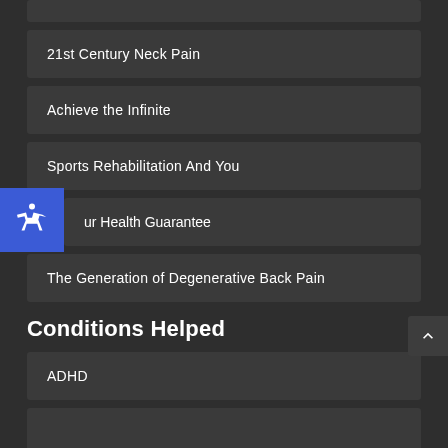21st Century Neck Pain
Achieve the Infinite
Sports Rehabilitation And You
Your Health Guarantee
The Generation of Degenerative Back Pain
Conditions Helped
ADHD
Allergies